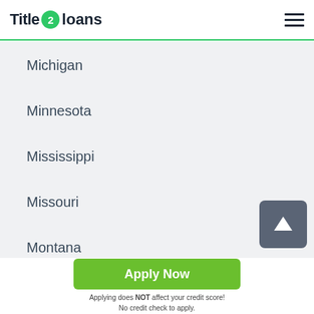Title 2 loans
Michigan
Minnesota
Mississippi
Missouri
Montana
Apply Now
Applying does NOT affect your credit score!
No credit check to apply.